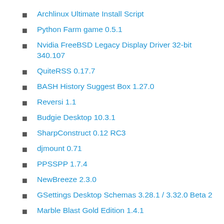Archlinux Ultimate Install Script
Python Farm game 0.5.1
Nvidia FreeBSD Legacy Display Driver 32-bit 340.107
QuiteRSS 0.17.7
BASH History Suggest Box 1.27.0
Reversi 1.1
Budgie Desktop 10.3.1
SharpConstruct 0.12 RC3
djmount 0.71
PPSSPP 1.7.4
NewBreeze 2.3.0
GSettings Desktop Schemas 3.28.1 / 3.32.0 Beta 2
Marble Blast Gold Edition 1.4.1